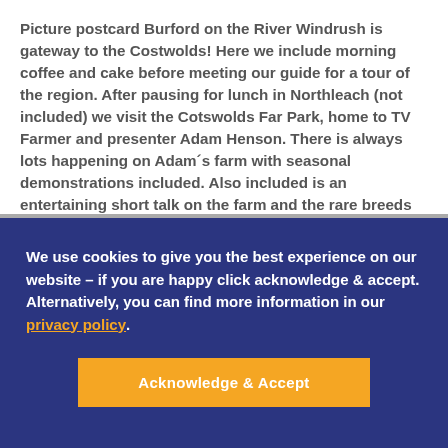Picture postcard Burford on the River Windrush is gateway to the Costwolds! Here we include morning coffee and cake before meeting our guide for a tour of the region. After pausing for lunch in Northleach (not included) we visit the Cotswolds Far Park, home to TV Farmer and presenter Adam Henson. There is always lots happening on Adam´s farm with seasonal demonstrations included. Also included is an entertaining short talk on the farm and the rare breeds on show all over a cup of tea.
We use cookies to give you the best experience on our website – if you are happy click acknowledge & accept. Alternatively, you can find more information in our privacy policy.